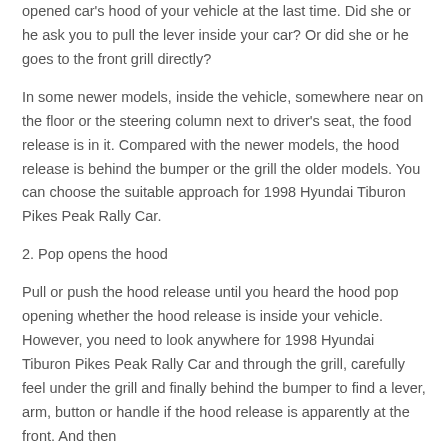opened car's hood of your vehicle at the last time. Did she or he ask you to pull the lever inside your car? Or did she or he goes to the front grill directly?
In some newer models, inside the vehicle, somewhere near on the floor or the steering column next to driver's seat, the food release is in it. Compared with the newer models, the hood release is behind the bumper or the grill the older models. You can choose the suitable approach for 1998 Hyundai Tiburon Pikes Peak Rally Car.
2. Pop opens the hood
Pull or push the hood release until you heard the hood pop opening whether the hood release is inside your vehicle. However, you need to look anywhere for 1998 Hyundai Tiburon Pikes Peak Rally Car and through the grill, carefully feel under the grill and finally behind the bumper to find a lever, arm, button or handle if the hood release is apparently at the front. And then